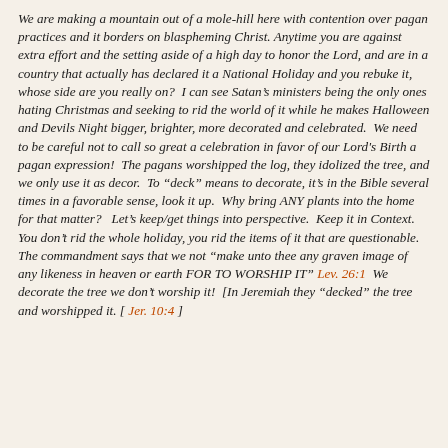We are making a mountain out of a mole-hill here with contention over pagan practices and it borders on blaspheming Christ. Anytime you are against extra effort and the setting aside of a high day to honor the Lord, and are in a country that actually has declared it a National Holiday and you rebuke it, whose side are you really on?  I can see Satan's ministers being the only ones hating Christmas and seeking to rid the world of it while he makes Halloween and Devils Night bigger, brighter, more decorated and celebrated.  We need to be careful not to call so great a celebration in favor of our Lord's Birth a pagan expression!  The pagans worshipped the log, they idolized the tree, and we only use it as decor.  To "deck" means to decorate, it's in the Bible several times in a favorable sense, look it up.  Why bring ANY plants into the home for that matter?   Let's keep/get things into perspective.  Keep it in Context. You don't rid the whole holiday, you rid the items of it that are questionable.
The commandment says that we not "make unto thee any graven image of any likeness in heaven or earth FOR TO WORSHIP IT" Lev. 26:1  We decorate the tree we don't worship it!  [In Jeremiah they "decked" the tree and worshipped it. [ Jer. 10:4 ]